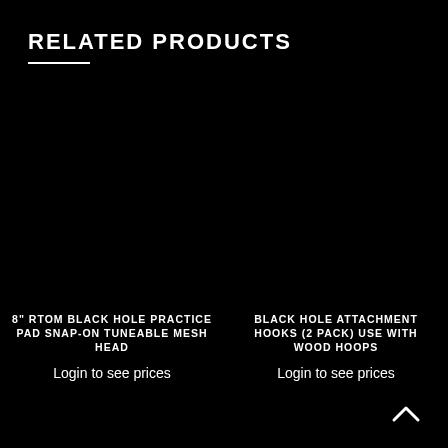RELATED PRODUCTS
8" RTOM BLACK HOLE PRACTICE PAD SNAP-ON TUNEABLE MESH HEAD
Login to see prices
BLACK HOLE ATTACHMENT HOOKS (2 PACK) USE WITH WOOD HOOPS
Login to see prices